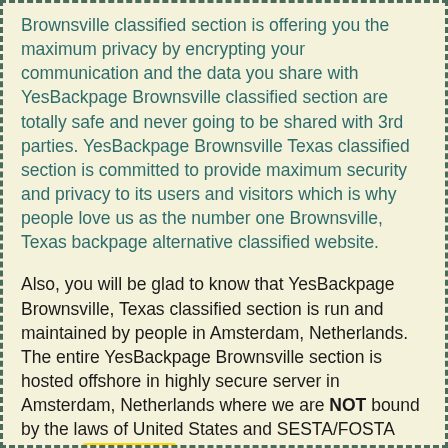Brownsville classified section is offering you the maximum privacy by encrypting your communication and the data you share with YesBackpage Brownsville classified section are totally safe and never going to be shared with 3rd parties. YesBackpage Brownsville Texas classified section is committed to provide maximum security and privacy to its users and visitors which is why people love us as the number one Brownsville, Texas backpage alternative classified website.
Also, you will be glad to know that YesBackpage Brownsville, Texas classified section is run and maintained by people in Amsterdam, Netherlands. The entire YesBackpage Brownsville section is hosted offshore in highly secure server in Amsterdam, Netherlands where we are NOT bound by the laws of United States and SESTA/FOSTA doesn't [Page Top] apply to YesBackpage Brownsville classified section... That doesn't mean any illegal advertisements will be